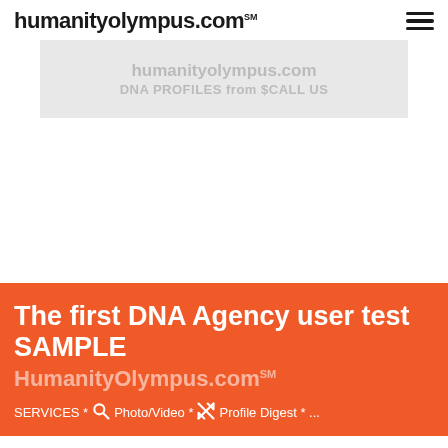humanityolympus.com℠
[Figure (screenshot): Gray banner area with faint watermark text 'humanityolympus.com' and 'DNA PROFILES from $CALL US']
The first DNA Agency user test SAMPLE
HumanityOlympus.com℠
SERVICES * 🔍 Photo/Video * ↗↙ Profile Digest * ...